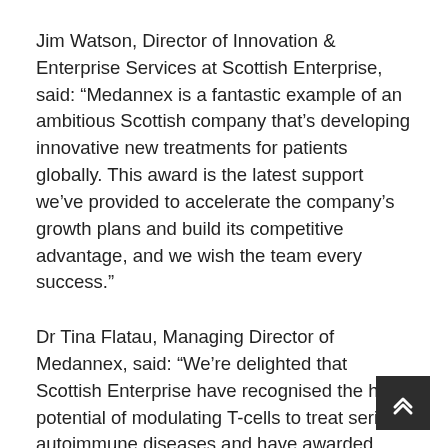Jim Watson, Director of Innovation & Enterprise Services at Scottish Enterprise, said: “Medannex is a fantastic example of an ambitious Scottish company that’s developing innovative new treatments for patients globally. This award is the latest support we’ve provided to accelerate the company’s growth plans and build its competitive advantage, and we wish the team every success.”
Dr Tina Flatau, Managing Director of Medannex, said: “We’re delighted that Scottish Enterprise have recognised the huge potential of modulating T-cells to treat serious autoimmune diseases and have awarded financial support for our development company in Scotland. Medannex’s ground-breaking annexin-A1